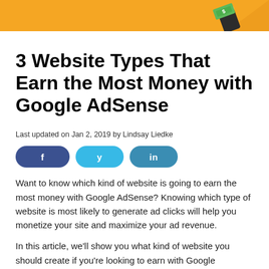[Figure (illustration): Orange banner header with illustrated hands holding money/cash on the right side]
3 Website Types That Earn the Most Money with Google AdSense
Last updated on Jan 2, 2019 by Lindsay Liedke
[Figure (infographic): Social share buttons: Facebook (dark blue), Twitter (light blue), LinkedIn (teal blue)]
Want to know which kind of website is going to earn the most money with Google AdSense? Knowing which type of website is most likely to generate ad clicks will help you monetize your site and maximize your ad revenue.
In this article, we'll show you what kind of website you should create if you're looking to earn with Google AdSense.
What is Google AdSense?